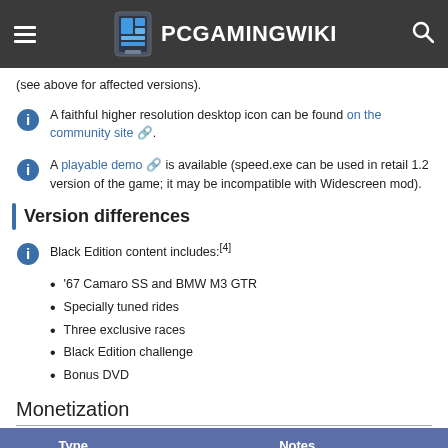PCGamingWiki
(see above for affected versions).
A faithful higher resolution desktop icon can be found on the community site.
A playable demo is available (speed.exe can be used in retail 1.2 version of the game; it may be incompatible with Widescreen mod).
Version differences
Black Edition content includes:[4]
'67 Camaro SS and BMW M3 GTR
Specially tuned rides
Three exclusive races
Black Edition challenge
Bonus DVD
Monetization
| Type | Notes |
| --- | --- |
| One-time game purchase | The game requires an upfront purchase to access. |